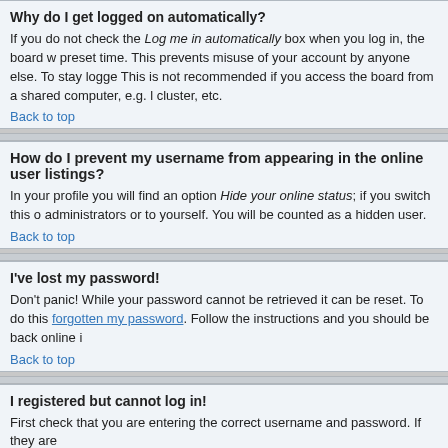Why do I get logged on automatically?
If you do not check the Log me in automatically box when you log in, the board will only keep you logged in for a preset time. This prevents misuse of your account by anyone else. To stay logged in, check the box during login. This is not recommended if you access the board from a shared computer, e.g. a library, internet cafe, university cluster, etc.
Back to top
How do I prevent my username from appearing in the online user listings?
In your profile you will find an option Hide your online status; if you switch this on you will only appear to administrators or to yourself. You will be counted as a hidden user.
Back to top
I've lost my password!
Don't panic! While your password cannot be retrieved it can be reset. To do this visit the forgotten my password page. Follow the instructions and you should be back online in no time.
Back to top
I registered but cannot log in!
First check that you are entering the correct username and password. If they are then one of two things may have happened: if COPPA support is enabled and you clicked the I am under 13 years old link, then you will have to follow the instructions you received. If this is not the case then maybe your account need activating. Some boards will require all new registrations be activated, either by yourself or by an administrator before you can log on. When you registered it would have told you whether activation was required. If you were sent an email then follow the instructions; if you did not receive the email then check that your email address is valid. One reason activation is used is to reduce the possibility of rogue users abusing the board anonymously. If you are sure the email address you used is valid then try contacting the board administrator.